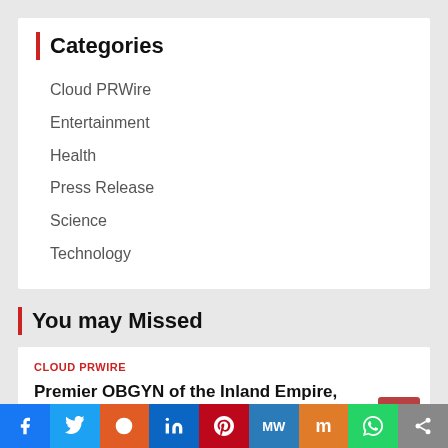Categories
Cloud PRWire
Entertainment
Health
Press Release
Science
Technology
You may Missed
CLOUD PRWIRE
Premier OBGYN of the Inland Empire, Care for Womens Medical Group, Opens New Rancho Cucamonga ObGyn Office
September 3, 2022 / Cloud PR Wire